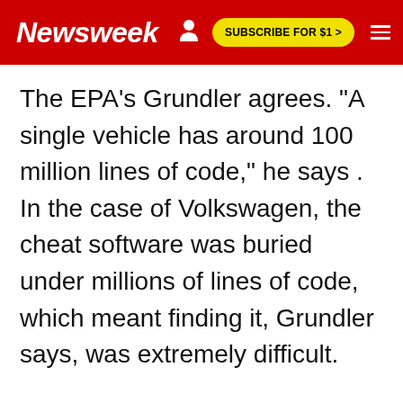Newsweek | SUBSCRIBE FOR $1 >
The EPA's Grundler agrees. "A single vehicle has around 100 million lines of code," he says . In the case of Volkswagen, the cheat software was buried under millions of lines of code, which meant finding it, Grundler says, was extremely difficult.